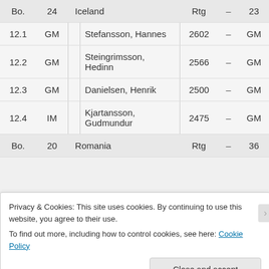| No. | Title |  | Name | Rtg | – | Pts |
| --- | --- | --- | --- | --- | --- | --- |
| Bo. | 24 | Iceland |  | Rtg | – | 23 |
| 12.1 | GM |  | Stefansson, Hannes | 2602 | – | GM |
| 12.2 | GM |  | Steingrimsson, Hedinn | 2566 | – | GM |
| 12.3 | GM |  | Danielsen, Henrik | 2500 | – | GM |
| 12.4 | IM |  | Kjartansson, Gudmundur | 2475 | – | GM |
| Bo. | 20 | Romania |  | Rtg | – | 36 |
Privacy & Cookies: This site uses cookies. By continuing to use this website, you agree to their use. To find out more, including how to control cookies, see here: Cookie Policy